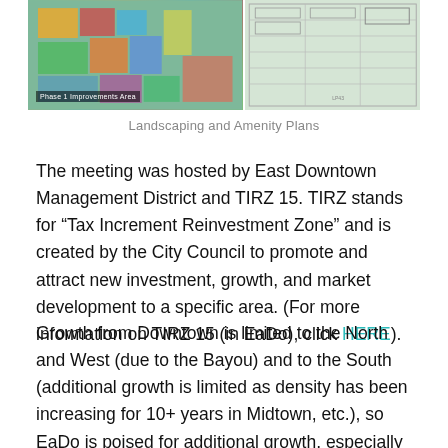[Figure (photo): Two photos displayed side by side on a green surface. Left: colorful landscaping/site plan map with text 'Phase 1 Improvements Area'. Right: architectural blueprint/plan drawing.]
Landscaping and Amenity Plans
The meeting was hosted by East Downtown Management District and TIRZ 15. TIRZ stands for “Tax Increment Reinvestment Zone” and is created by the City Council to promote and attract new investment, growth, and market development to a specific area. (For more information on TIRZ 15 (in EaDo), click HERE).
Growth from Downtown is limited to the North and West (due to the Bayou) and to the South (additional growth is limited as density has been increasing for 10+ years in Midtown, etc.), so EaDo is poised for additional growth, especially with the TXDot “EaDo cap” planned